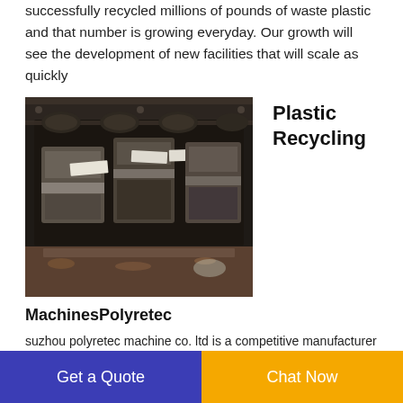successfully recycled millions of pounds of waste plastic and that number is growing everyday. Our growth will see the development of new facilities that will scale as quickly
[Figure (photo): Close-up photo of industrial plastic recycling machinery with dark metal components and rollers]
Plastic Recycling
MachinesPolyretec
suzhou polyretec machine co. ltd is a competitive manufacturer in the field of producing plastic recycling machine. Such as plastic washing machine plastic granulator waste film recycling machine agriculture film crushing and
Get a Quote
Chat Now